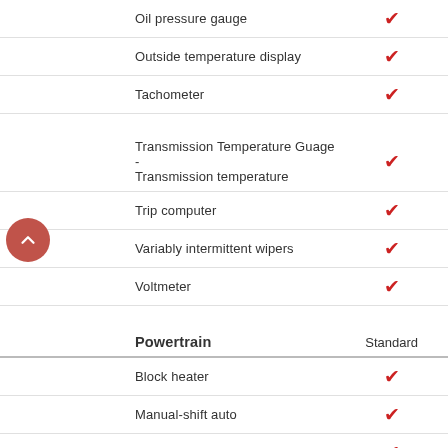Oil pressure gauge — Standard ✓
Outside temperature display — Standard ✓
Tachometer — Standard ✓
Transmission Temperature Guage - Transmission temperature — Standard ✓
Trip computer — Standard ✓
Variably intermittent wipers — Standard ✓
Voltmeter — Standard ✓
Powertrain   Standard
Block heater — Standard ✓
Manual-shift auto — Standard ✓
Mode select transmission — Standard ✓
Sequential multi-point fuel injection — Standard ✓
Variable intake manifold — Standard ✓
Variable valve control — Standard ✓
Safety and Security   Standard